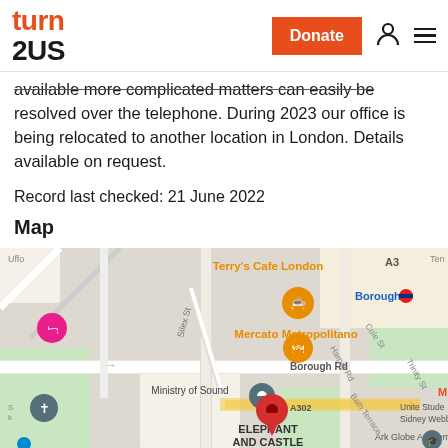turn2US — Donate (button) | account icon | menu icon
available more complicated matters can easily be resolved over the telephone. During 2023 our office is being relocated to another location in London. Details available on request.
Record last checked: 21 June 2022
Map
[Figure (map): Google Maps view of the Borough / Elephant and Castle area in London. Shows landmarks including Terry's Cafe London, Mercato Metropolitano, Ministry of Sound, Borough Road, A302, Elephant and Castle, Ark Globe Academy, Unite Students Sidney Webb Hall. Has several map pins including a red location pin, a teal/dark pin, an orange cafe pin, and a pink accommodation pin.]